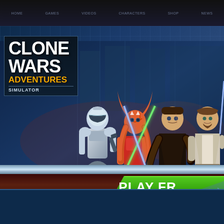Navigation bar with menu items
[Figure (screenshot): Clone Wars Adventures game banner screenshot. Features animated characters: a Clone Trooper soldier, Ahsoka Tano with green lightsaber, Anakin Skywalker with blue lightsaber, and Obi-Wan Kenobi with blue lightsaber. Logo shows 'CLONE WARS ADVENTURES SIMULATOR' on dark background. A large green 'PLAY FREE' button is visible on the right. Background shows a futuristic sci-fi setting with grid-like blue overlays. Bottom section shows a chrome strip and dark red/brown area.]